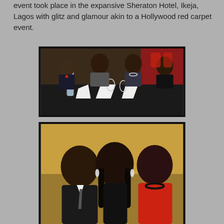event took place in the expansive Sheraton Hotel, Ikeja, Lagos with glitz and glamour akin to a Hollywood red carpet event.
[Figure (photo): Group of four people seated at a banquet table with black tablecloth, white folded napkins, glasses and a water bottle. Three women and one man wearing a red bow tie at a formal event.]
[Figure (photo): Three young people posing together at a formal event: a man in a suit on the left, a woman in the middle with long hair and dangling earrings, and a woman on the right in a red top with a black beaded necklace.]